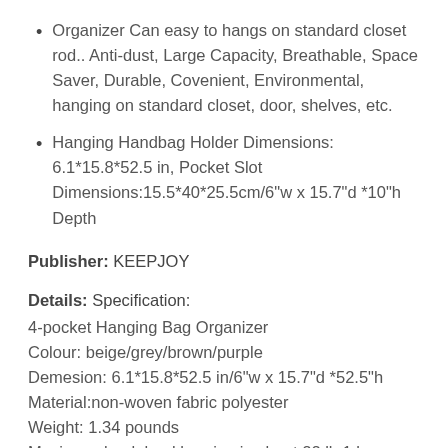Organizer Can easy to hangs on standard closet rod.. Anti-dust, Large Capacity, Breathable, Space Saver, Durable, Covenient, Environmental, hanging on standard closet, door, shelves, etc.
Hanging Handbag Holder Dimensions: 6.1*15.8*52.5 in, Pocket Slot Dimensions:15.5*40*25.5cm/6"w x 15.7"d *10"h Depth
Publisher: KEEPJOY
Details: Specification:
4-pocket Hanging Bag Organizer
Colour: beige/grey/brown/purple
Demesion: 6.1*15.8*52.5 in/6"w x 15.7"d *52.5"h
Material:non-woven fabric polyester
Weight: 1.34 pounds
Maximum load: load bearing is about 22 lb,1 layer bearing 5.5 lb.